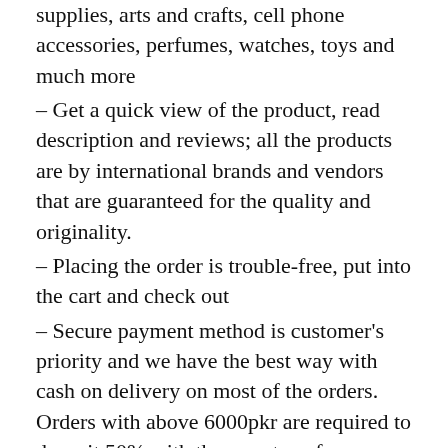supplies, arts and crafts, cell phone accessories, perfumes, watches, toys and much more
– Get a quick view of the product, read description and reviews; all the products are by international brands and vendors that are guaranteed for the quality and originality.
– Placing the order is trouble-free, put into the cart and check out
– Secure payment method is customer's priority and we have the best way with cash on delivery on most of the orders. Orders with above 6000pkr are required to deposit 50% with the easy transfer procedure
– You can also add products in your wish list to consider again and come back when you are sure
–